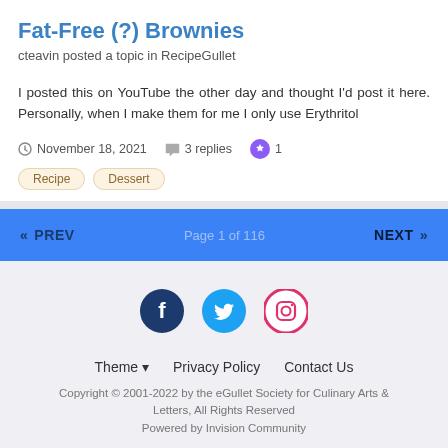Fat-Free (?) Brownies
cteavin posted a topic in RecipeGullet
I posted this on YouTube the other day and thought I'd post it here. Personally, when I make them for me I only use Erythritol
November 18, 2021  3 replies  1
Recipe
Dessert
« PREV  Page 1 of 116  NEXT »
[Figure (other): Social media icons: Facebook, Twitter, Instagram]
Theme ▾  Privacy Policy  Contact Us
Copyright © 2001-2022 by the eGullet Society for Culinary Arts & Letters, All Rights Reserved
Powered by Invision Community